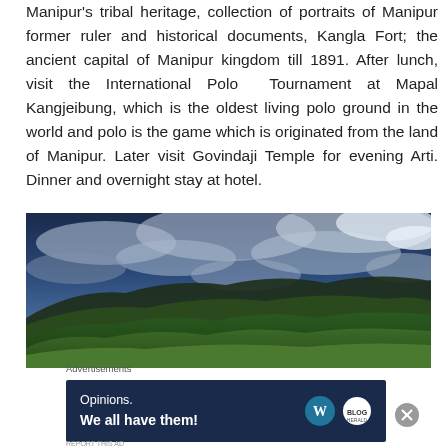Manipur's tribal heritage, collection of portraits of Manipur former ruler and historical documents, Kangla Fort; the ancient capital of Manipur kingdom till 1891. After lunch, visit the International Polo Tournament at Mapal Kangjeibung, which is the oldest living polo ground in the world and polo is the game which is originated from the land of Manipur. Later visit Govindaji Temple for evening Arti. Dinner and overnight stay at hotel.
[Figure (photo): Wide landscape photo of green rolling hills and mountains under a dramatic cloudy blue sky, HDR-style photograph.]
Advertisements
[Figure (infographic): Dark blue advertisement banner reading 'Opinions. We all have them!' with WordPress and another circular logo on the right.]